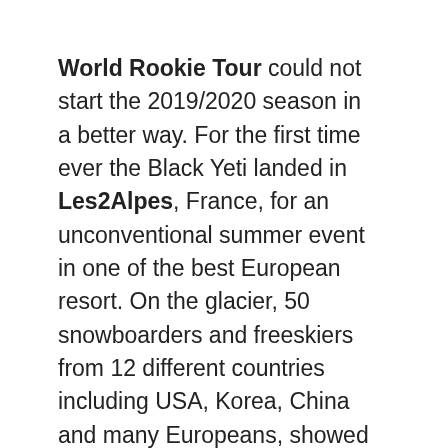World Rookie Tour could not start the 2019/2020 season in a better way. For the first time ever the Black Yeti landed in Les2Alpes, France, for an unconventional summer event in one of the best European resort. On the glacier, 50 snowboarders and freeskiers from 12 different countries including USA, Korea, China and many Europeans, showed their style during the big air and halfpipecompetitions, in a perfectly shaped 18 meters kicker and 6.7 m super pipe by the amazing Les2Alpes